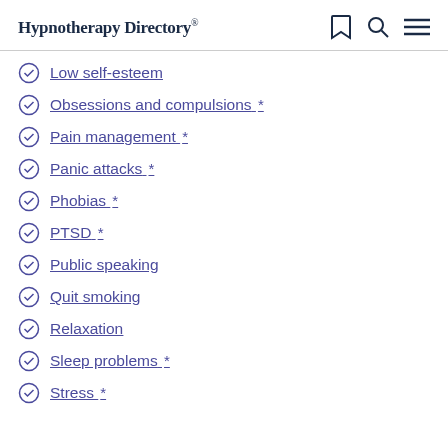Hypnotherapy Directory
Low self-esteem
Obsessions and compulsions *
Pain management *
Panic attacks *
Phobias *
PTSD *
Public speaking
Quit smoking
Relaxation
Sleep problems *
Stress *